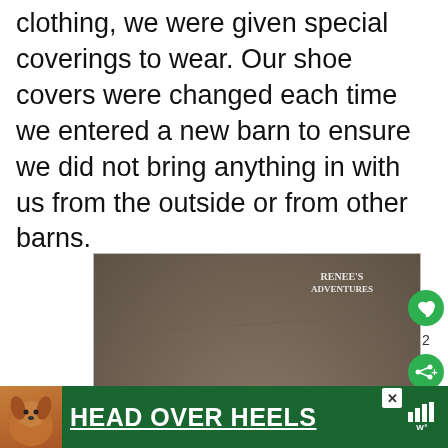clothing, we were given special coverings to wear. Our shoe covers were changed each time we entered a new barn to ensure we did not bring anything in with us from the outside or from other barns.
[Figure (photo): A top-down photo of two feet wearing clear plastic shoe covers over dark shoes, on a concrete floor. The photo has a 'Renee's Adventures' watermark in the top right corner.]
[Figure (infographic): Advertisement banner for 'Head Over Heels' showing a dog graphic on the left and bold white underlined text on a dark green background.]